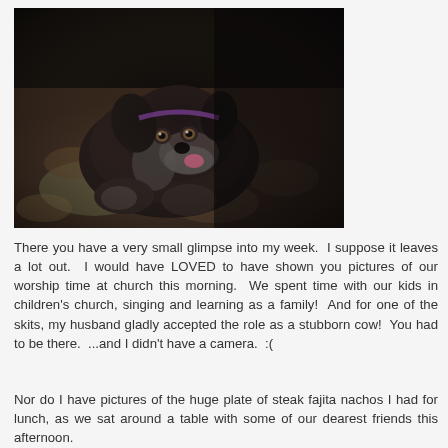[Figure (photo): A black puppy with white markings lying on a colorful patterned carpet/rug, wearing a collar, with its tongue slightly out, looking at the camera. Dark moody lighting with bokeh background.]
There you have a very small glimpse into my week.  I suppose it leaves a lot out.  I would have LOVED to have shown you pictures of our worship time at church this morning.  We spent time with our kids in children's church, singing and learning as a family!  And for one of the skits, my husband gladly accepted the role as a stubborn cow!  You had to be there.  ...and I didn't have a camera.  :(
Nor do I have pictures of the huge plate of steak fajita nachos I had for lunch, as we sat around a table with some of our dearest friends this afternoon.